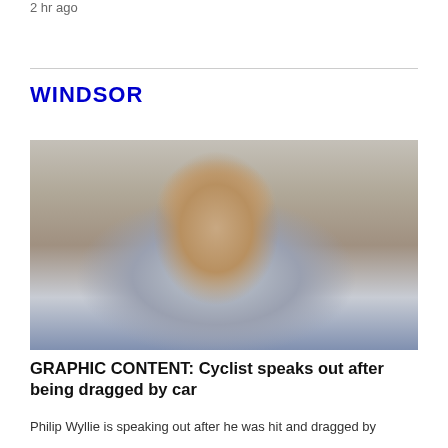2 hr ago
WINDSOR
[Figure (photo): A man in a hospital bed, wearing a blue hospital gown, looking into the camera with visible bruising/injuries on his face. Medical equipment visible in the background.]
GRAPHIC CONTENT: Cyclist speaks out after being dragged by car
Philip Wyllie is speaking out after he was hit and dragged by